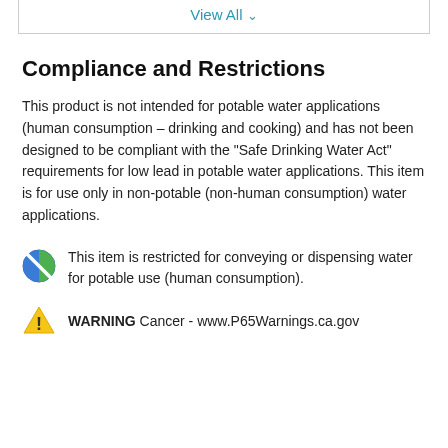View All ∨
Compliance and Restrictions
This product is not intended for potable water applications (human consumption – drinking and cooking) and has not been designed to be compliant with the "Safe Drinking Water Act" requirements for low lead in potable water applications. This item is for use only in non-potable (non-human consumption) water applications.
This item is restricted for conveying or dispensing water for potable use (human consumption).
WARNING Cancer - www.P65Warnings.ca.gov